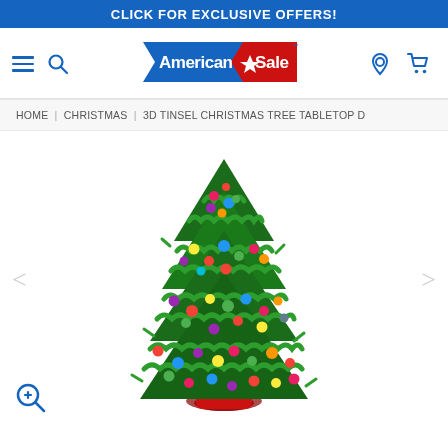CLICK FOR EXCLUSIVE OFFERS!
[Figure (logo): American Sale logo — blue banner shape with white text 'American' and red banner shape with white text 'Sale' and a star graphic]
HOME | CHRISTMAS | 3D TINSEL CHRISTMAS TREE TABLETOP D
[Figure (photo): A small tabletop Christmas tree decorated with colorful round ornaments (red, green, blue, yellow, pink, purple) and green tinsel/garland, with a red base/skirt, on a white background]